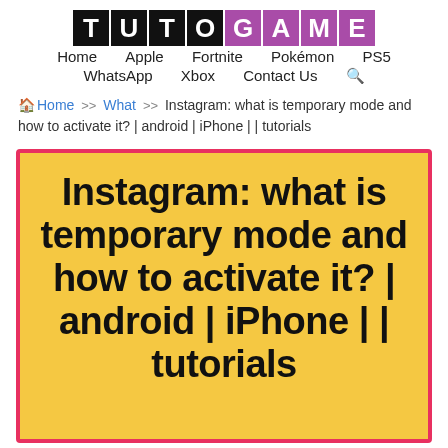TUTOGAME
Home  Apple  Fortnite  Pokémon  PS5  WhatsApp  Xbox  Contact Us
Home >> What >> Instagram: what is temporary mode and how to activate it? | android | iPhone | | tutorials
Instagram: what is temporary mode and how to activate it? | android | iPhone | | tutorials